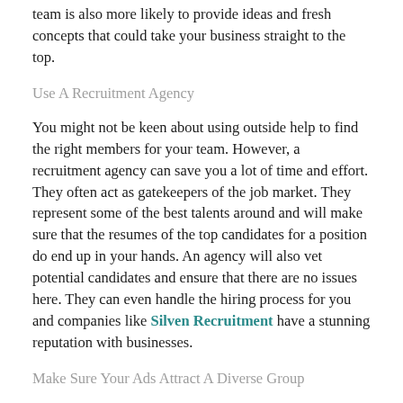team is also more likely to provide ideas and fresh concepts that could take your business straight to the top.
Use A Recruitment Agency
You might not be keen about using outside help to find the right members for your team. However, a recruitment agency can save you a lot of time and effort. They often act as gatekeepers of the job market. They represent some of the best talents around and will make sure that the resumes of the top candidates for a position do end up in your hands. An agency will also vet potential candidates and ensure that there are no issues here. They can even handle the hiring process for you and companies like Silven Recruitment have a stunning reputation with businesses.
Make Sure Your Ads Attract A Diverse Group